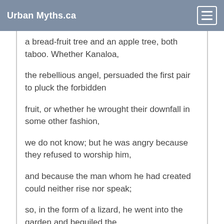Urban Myths.ca
a bread-fruit tree and an apple tree, both taboo. Whether Kanaloa,
the rebellious angel, persuaded the first pair to pluck the forbidden
fruit, or whether he wrought their downfall in some other fashion,
we do not know; but he was angry because they refused to worship him,
and because the man whom he had created could neither rise nor speak;
so, in the form of a lizard, he went into the garden and beguiled the